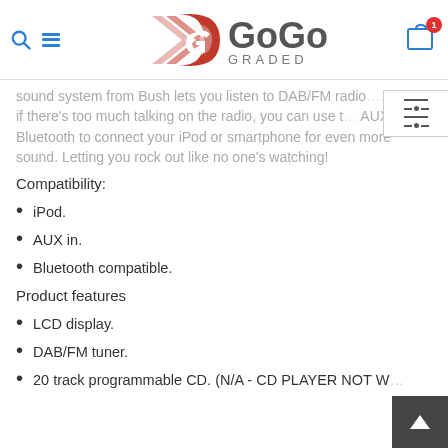GoGo Graded
sound system from Bush lets you listen to DAB/FM radio. And if there's too much talking on the radio, you can use the AUX in or Bluetooth to connect your iPod or smartphone for even more sound. Letting you rock out like no one's watching!
Compatibility:
iPod.
AUX in.
Bluetooth compatible.
Product features
LCD display.
DAB/FM tuner.
20 track programmable CD. (N/A - CD PLAYER NOT W...